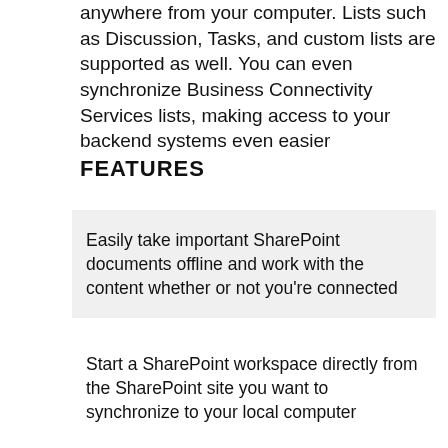anywhere from your computer. Lists such as Discussion, Tasks, and custom lists are supported as well. You can even synchronize Business Connectivity Services lists, making access to your backend systems even easier
FEATURES
Easily take important SharePoint documents offline and work with the content whether or not you're connected
Start a SharePoint workspace directly from the SharePoint site you want to synchronize to your local computer